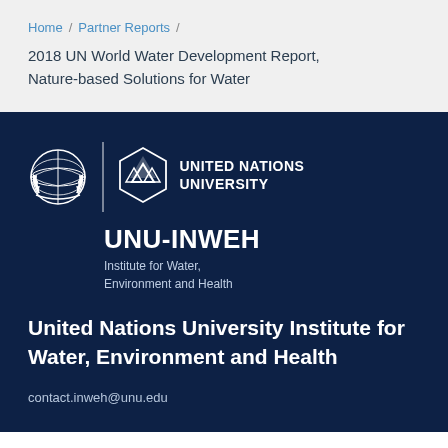Home / Partner Reports /
2018 UN World Water Development Report, Nature-based Solutions for Water
[Figure (logo): United Nations emblem logo alongside UNU (United Nations University) logo with triangle/pyramid icon, and UNU-INWEH Institute for Water, Environment and Health branding on dark navy background]
United Nations University Institute for Water, Environment and Health
contact.inweh@unu.edu